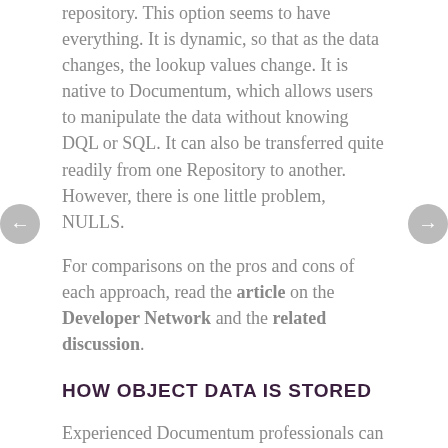repository. This option seems to have everything. It is dynamic, so that as the data changes, the lookup values change. It is native to Documentum, which allows users to manipulate the data without knowing DQL or SQL. It can also be transferred quite readily from one Repository to another. However, there is one little problem, NULLS.
For comparisons on the pros and cons of each approach, read the article on the Developer Network and the related discussion.
HOW OBJECT DATA IS STORED
Experienced Documentum professionals can skip this part.
Documentum is an object-oriented ECM platform. However, it relies on a relational database to store data,